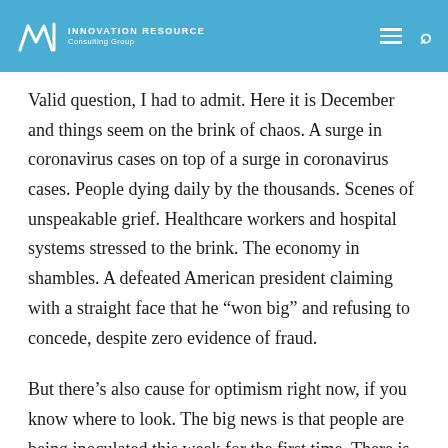INNOVATION RESOURCE Consulting Group
Valid question, I had to admit. Here it is December and things seem on the brink of chaos. A surge in coronavirus cases on top of a surge in coronavirus cases. People dying daily by the thousands. Scenes of unspeakable grief. Healthcare workers and hospital systems stressed to the brink. The economy in shambles. A defeated American president claiming with a straight face that he “won big” and refusing to concede, despite zero evidence of fraud.
But there’s also cause for optimism right now, if you know where to look. The big news is that people are being inoculated this week for the first time. There is more certainty in the timeline now toward herd immunity. This truly is the beginning of the end. “The United States will most likely